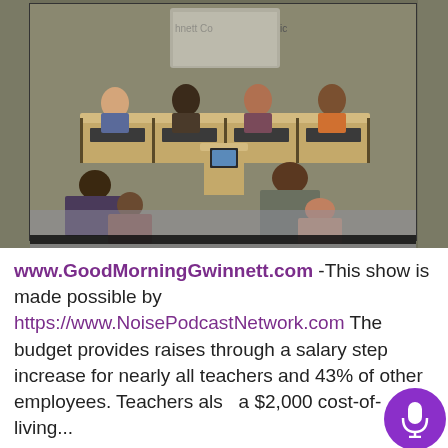[Figure (photo): Screenshot of a Gwinnett County government/school board meeting. Four officials sit behind a curved dais in front of a projection screen displaying 'Gwinnett Co... ic'. Two audience members are seated facing the panel, and one person stands at a podium in the center.]
www.GoodMorningGwinnett.com -This show is made possible by https://www.NoisePodcastNetwork.com The budget provides raises through a salary step increase for nearly all teachers and 43% of other employees. Teachers also a $2,000 cost-of-living...